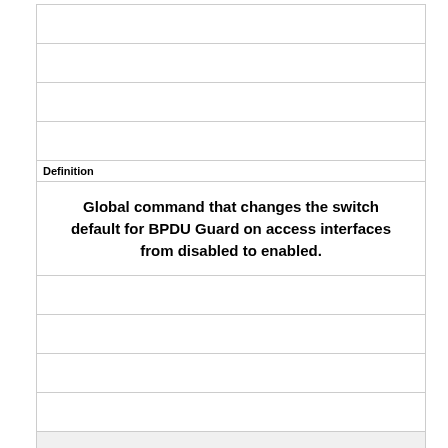|  |
|  |
|  |
|  |
|  |
| Definition |
| Global command that changes the switch default for BPDU Guard on access interfaces from disabled to enabled. |
|  |
|  |
|  |
|  |
|  |
| Term |
| no spanning-tree portfast default |
|  |